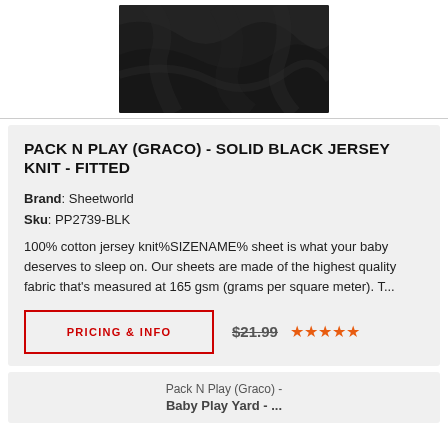[Figure (photo): Black jersey knit fabric, dark solid color, close-up shot showing fabric texture and drape]
PACK N PLAY (GRACO) - SOLID BLACK JERSEY KNIT - FITTED
Brand: Sheetworld
Sku: PP2739-BLK
100% cotton jersey knit%SIZENAME% sheet is what your baby deserves to sleep on. Our sheets are made of the highest quality fabric that's measured at 165 gsm (grams per square meter). T...
PRICING & INFO
$21.99
[Figure (photo): Pack N Play (Graco) - Baby Play Yard - bottom portion of product image visible]